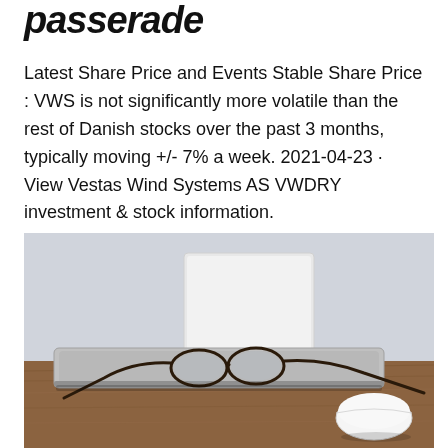passerade
Latest Share Price and Events Stable Share Price : VWS is not significantly more volatile than the rest of Danish stocks over the past 3 months, typically moving +/- 7% a week. 2021-04-23 · View Vestas Wind Systems AS VWDRY investment & stock information.
[Figure (photo): A laptop computer on a wooden desk with glasses resting on top of it, a white Apple Magic Mouse to the right, and a white object (possibly another device or book) in the background. The background is light grey/blue.]